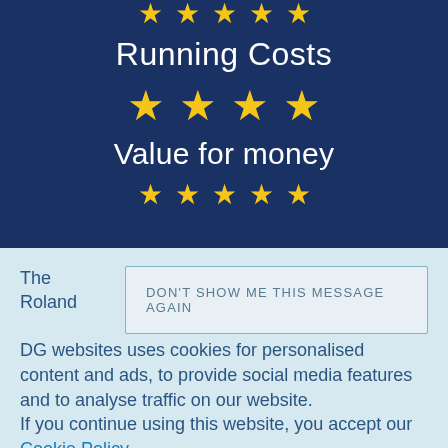[Figure (infographic): Dark navy blue background section showing star ratings and category labels. Top partial stars visible at top, followed by 'Running Costs' label with 4 gold stars, then 'Value for money' label with partial stars at bottom.]
The Roland DG websites uses cookies for personalised content and ads, to provide social media features and to analyse traffic on our website. If you continue using this website, you accept our Cookie Policy. You can change your cookie settings at any time.